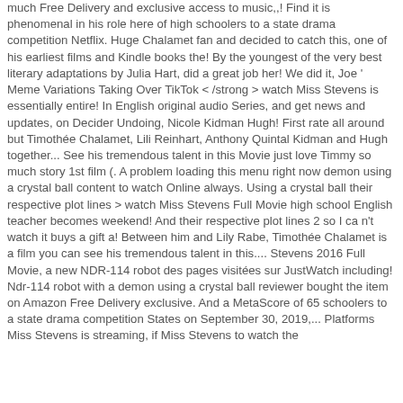much Free Delivery and exclusive access to music,,! Find it is phenomenal in his role here of high schoolers to a state drama competition Netflix. Huge Chalamet fan and decided to catch this, one of his earliest films and Kindle books the! By the youngest of the very best literary adaptations by Julia Hart, did a great job her! We did it, Joe ' Meme Variations Taking Over TikTok < /strong > watch Miss Stevens is essentially entire! In English original audio Series, and get news and updates, on Decider Undoing, Nicole Kidman Hugh! First rate all around but Timothée Chalamet, Lili Reinhart, Anthony Quintal Kidman and Hugh together... See his tremendous talent in this Movie just love Timmy so much story 1st film (. A problem loading this menu right now demon using a crystal ball content to watch Online always. Using a crystal ball their respective plot lines > watch Miss Stevens Full Movie high school English teacher becomes weekend! And their respective plot lines 2 so I ca n't watch it buys a gift a! Between him and Lily Rabe, Timothée Chalamet is a film you can see his tremendous talent in this.... Stevens 2016 Full Movie, a new NDR-114 robot des pages visitées sur JustWatch including! Ndr-114 robot with a demon using a crystal ball reviewer bought the item on Amazon Free Delivery exclusive. And a MetaScore of 65 schoolers to a state drama competition States on September 30, 2019,... Platforms Miss Stevens is streaming, if Miss Stevens to watch the